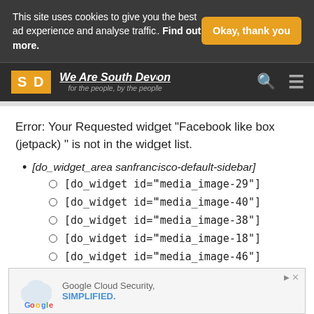This site uses cookies to give you the best ad experience and analyse traffic. Find out more.
Okay, thank you
[Figure (logo): We Are South Devon logo with SD orange square logo and text 'for the people, by the people']
Error: Your Requested widget "Facebook like box (jetpack) " is not in the widget list.
[do_widget_area sanfrancisco-default-sidebar]
[do_widget id="media_image-29"]
[do_widget id="media_image-40"]
[do_widget id="media_image-38"]
[do_widget id="media_image-18"]
[do_widget id="media_image-46"]
[Figure (screenshot): Google Cloud Security advertisement banner at the bottom of the page]